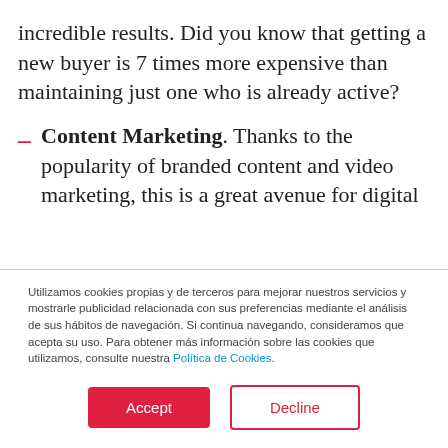incredible results. Did you know that getting a new buyer is 7 times more expensive than maintaining just one who is already active?
Content Marketing. Thanks to the popularity of branded content and video marketing, this is a great avenue for digital
Utilizamos cookies propias y de terceros para mejorar nuestros servicios y mostrarle publicidad relacionada con sus preferencias mediante el análisis de sus hábitos de navegación. Si continua navegando, consideramos que acepta su uso. Para obtener más información sobre las cookies que utilizamos, consulte nuestra Política de Cookies.